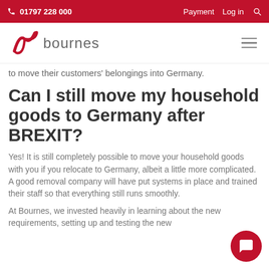01797 228 000  Payment  Log in
[Figure (logo): Bournes moving company logo with stylized red ribbon and grey 'bournes' text]
to move their customers' belongings into Germany.
Can I still move my household goods to Germany after BREXIT?
Yes! It is still completely possible to move your household goods with you if you relocate to Germany, albeit a little more complicated. A good removal company will have put systems in place and trained their staff so that everything still runs smoothly.
At Bournes, we invested heavily in learning about the new requirements, setting up and testing the new